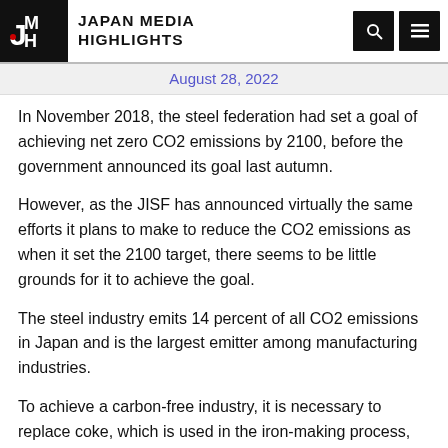JAPAN MEDIA HIGHLIGHTS
August 28, 2022
In November 2018, the steel federation had set a goal of achieving net zero CO2 emissions by 2100, before the government announced its goal last autumn.
However, as the JISF has announced virtually the same efforts it plans to make to reduce the CO2 emissions as when it set the 2100 target, there seems to be little grounds for it to achieve the goal.
The steel industry emits 14 percent of all CO2 emissions in Japan and is the largest emitter among manufacturing industries.
To achieve a carbon-free industry, it is necessary to replace coke, which is used in the iron-making process, with hydrogen.